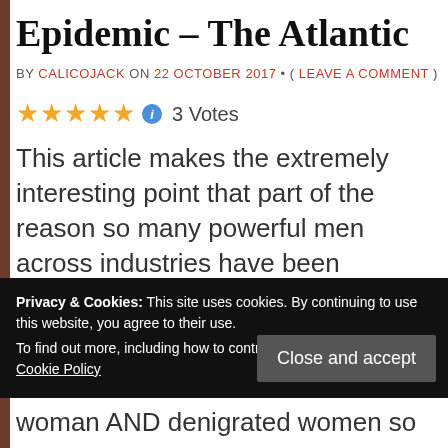Epidemic – The Atlantic
BY CALICOJACK ON 22 OCTOBER 2017 • ( LEAVE A COMMENT )
[Figure (other): Five gold star rating icons followed by a blue info icon, then '3 Votes' text]
This article makes the extremely interesting point that part of the reason so many powerful men across industries have been accused of
Privacy & Cookies: This site uses cookies. By continuing to use this website, you agree to their use.
To find out more, including how to control cookies, see here: Cookie Policy
Close and accept
woman AND denigrated women so